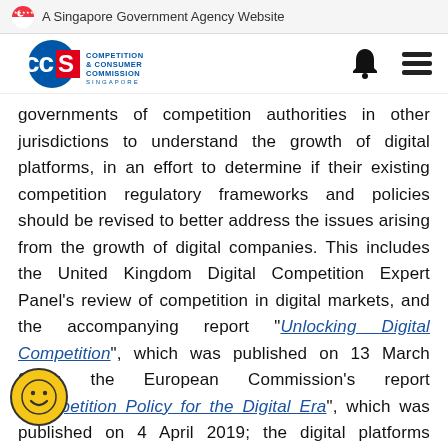A Singapore Government Agency Website
[Figure (logo): CCCS - Competition & Consumer Commission Singapore logo with navigation icons (bell and hamburger menu)]
governments of competition authorities in other jurisdictions to understand the growth of digital platforms, in an effort to determine if their existing competition regulatory frameworks and policies should be revised to better address the issues arising from the growth of digital companies. This includes the United Kingdom Digital Competition Expert Panel's review of competition in digital markets, and the accompanying report "Unlocking Digital Competition", which was published on 13 March 2019; the European Commission's report "Competition Policy for the Digital Era", which was published on 4 April 2019; the digital platforms inquiry conducted by ACCC, and the accompanying "Digital Platforms Inquiry Report" which was published on 26 July